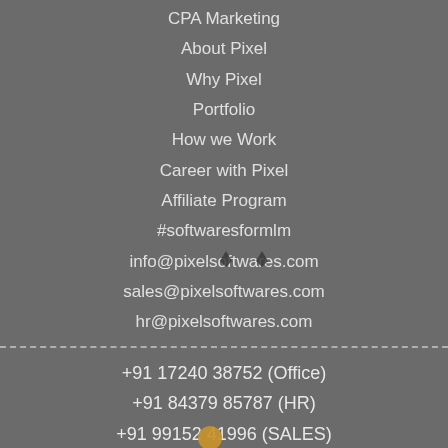CPA Marketing
About Pixel
Why Pixel
Portfolio
How we Work
Career with Pixel
Affiliate Program
#softwaresformlm
info@pixelsoftwares.com
sales@pixelsoftwares.com
hr@pixelsoftwares.com
+91 17240 38752 (Office)
+91 84379 85787 (HR)
+91 99152 41996 (SALES)